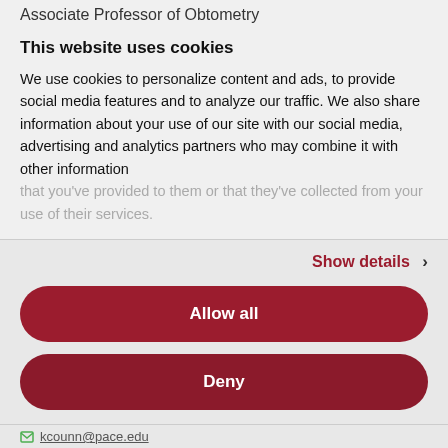Associate Professor of Obtometry
This website uses cookies
We use cookies to personalize content and ads, to provide social media features and to analyze our traffic. We also share information about your use of our site with our social media, advertising and analytics partners who may combine it with other information that you've provided to them or that they've collected from your use of their services.
Show details ›
Allow all
Deny
kcounn@pace.edu